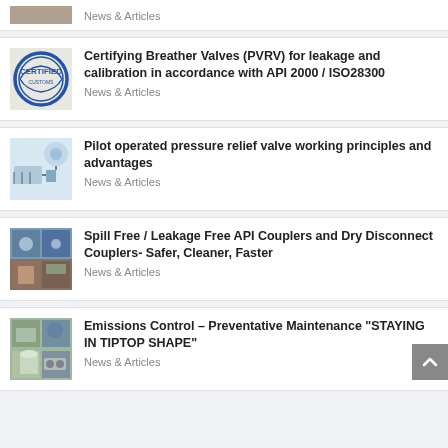[Figure (photo): Partial thumbnail image at top of page, cropped article card]
News & Articles
[Figure (photo): Certified stamp logo thumbnail for PVRV article]
Certifying Breather Valves (PVRV) for leakage and calibration in accordance with API 2000 / ISO28300
News & Articles
[Figure (engineering-diagram): Diagram thumbnail for pilot operated pressure relief valve article]
Pilot operated pressure relief valve working principles and advantages
News & Articles
[Figure (photo): Photo collage thumbnail of API couplers and dry disconnect couplers]
Spill Free / Leakage Free API Couplers and Dry Disconnect Couplers- Safer, Cleaner, Faster
News & Articles
[Figure (photo): Photo thumbnail showing emissions control maintenance equipment]
Emissions Control – Preventative Maintenance "STAYING IN TIPTOP SHAPE"
News & Articles